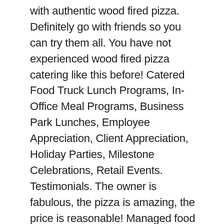with authentic wood fired pizza. Definitely go with friends so you can try them all. You have not experienced wood fired pizza catering like this before! Catered Food Truck Lunch Programs, In-Office Meal Programs, Business Park Lunches, Employee Appreciation, Client Appreciation, Holiday Parties, Milestone Celebrations, Retail Events. Testimonials. The owner is fabulous, the pizza is amazing, the price is reasonable! Managed food ... Explore other popular cuisines and restaurants near you from over 7 million businesses with over 142 million reviews and opinions from Yelpers. Additional time is $100 per hour. Find the best Wood-Fired Pizza near you on Yelp - see all Wood-Fired Pizza open now and reserve an open table. Their regular menu is really good too. We were lucky and went on a day that their pulled pork and smoked brisket